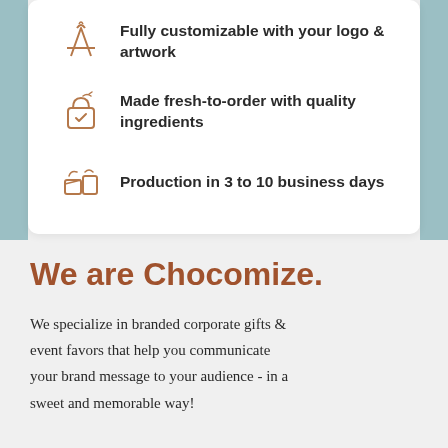Fully customizable with your logo & artwork
Made fresh-to-order with quality ingredients
Production in 3 to 10 business days
We are Chocomize.
We specialize in branded corporate gifts & event favors that help you communicate your brand message to your audience - in a sweet and memorable way!